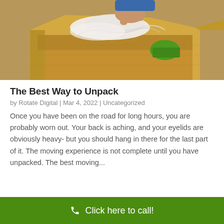[Figure (photo): A person unpacking a cardboard moving box, pulling out white paper wrapping. A green object is visible inside the box. The box is sitting on a floor.]
The Best Way to Unpack
by Rotate Digital | Mar 4, 2022 | Uncategorized
Once you have been on the road for long hours, you are probably worn out. Your back is aching, and your eyelids are obviously heavy- but you should hang in there for the last part of it. The moving experience is not complete until you have unpacked. The best moving...
Click here to call!